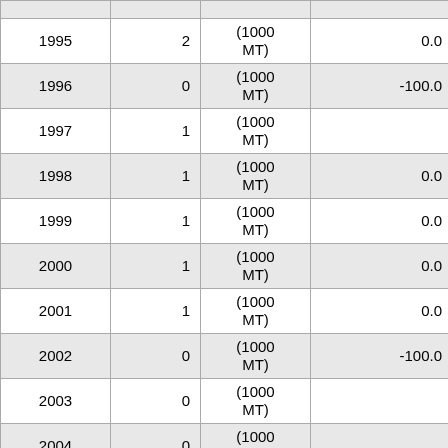| Year | Value | Unit | % Change |
| --- | --- | --- | --- |
| 1995 | 2 | (1000 MT) | 0.0 |
| 1996 | 0 | (1000 MT) | -100.0 |
| 1997 | 1 | (1000 MT) |  |
| 1998 | 1 | (1000 MT) | 0.0 |
| 1999 | 1 | (1000 MT) | 0.0 |
| 2000 | 1 | (1000 MT) | 0.0 |
| 2001 | 1 | (1000 MT) | 0.0 |
| 2002 | 0 | (1000 MT) | -100.0 |
| 2003 | 0 | (1000 MT) |  |
| 2004 | 0 | (1000 MT) |  |
| 2005 | 0 | (1000 MT) |  |
|  |  | (1000 |  |